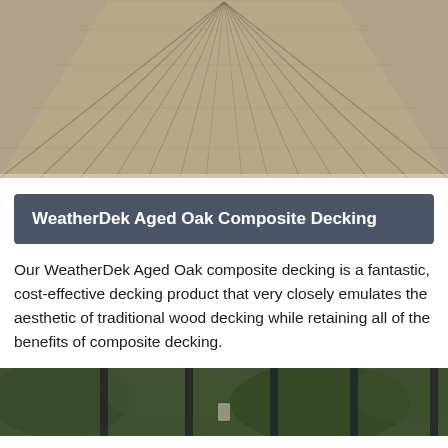[Figure (photo): Close-up perspective view of WeatherDek Aged Oak composite decking boards in a warm grey-brown tone, showing parallel board lines converging toward the horizon.]
WeatherDek Aged Oak Composite Decking
Our WeatherDek Aged Oak composite decking is a fantastic, cost-effective decking product that very closely emulates the aesthetic of traditional wood decking while retaining all of the benefits of composite decking.
[Figure (photo): Partial view of a garden or outdoor area with green foliage and dark metal fence posts, suggesting an installed decking scene.]